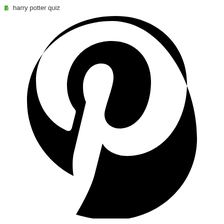harry potter quiz
[Figure (logo): Pinterest logo — stylized letter P in black on white background]